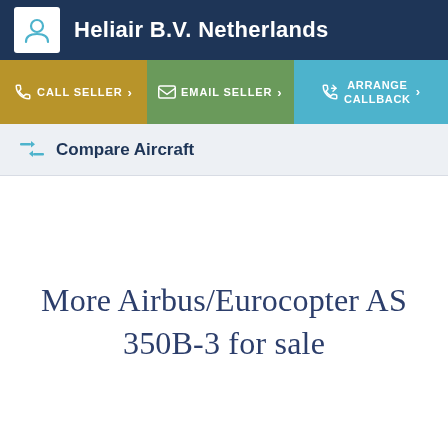Heliair B.V. Netherlands
CALL SELLER > EMAIL SELLER > ARRANGE CALLBACK >
Compare Aircraft
More Airbus/Eurocopter AS 350B-3 for sale